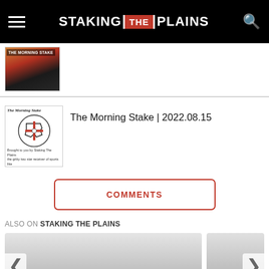STAKING THE PLAINS
[Figure (screenshot): Thumbnail image labeled THE MORNING STAKE with cityscape/stadium background]
The Morning Stake
[Figure (logo): The Morning Stake logo with Texas outline and cross symbol, brought to you by Staking The Plains]
The Morning Stake | 2022.08.15
COMMENTS
ALSO ON STAKING THE PLAINS
[Figure (screenshot): Article card thumbnail - days ago • 2 comments]
[Figure (screenshot): Article card thumbnail - 10 days ago • 4...]